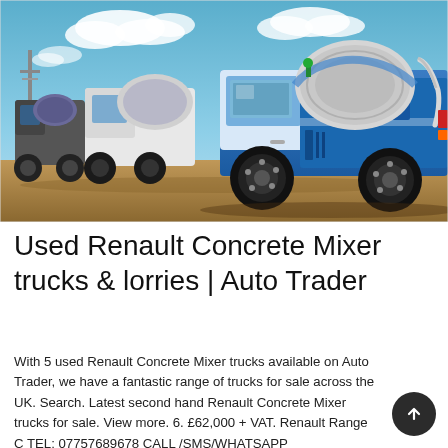[Figure (photo): A row of blue and white self-loading concrete mixer trucks parked on a dirt/sandy construction site with a blue sky and clouds in the background. The closest truck is blue with large black tires and visible mixer drum, with 'WATER TANK' text on it.]
Used Renault Concrete Mixer trucks & lorries | Auto Trader
With 5 used Renault Concrete Mixer trucks available on Auto Trader, we have a fantastic range of trucks for sale across the UK. Search. Latest second hand Renault Concrete Mixer trucks for sale. View more. 6. £62,000 + VAT. Renault Range C TEL: 07757689678 CALL /SMS/WHATSAPP